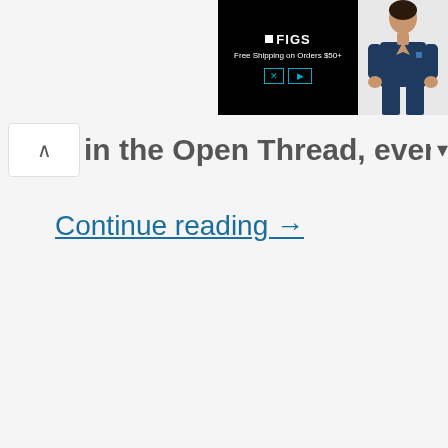[Figure (screenshot): FIGS advertisement banner showing black panel with FIGS logo and 'Free Shipping on Orders $50+' text, with X and play controls, alongside an image of a person in navy medical scrubs]
in the Open Thread, everyone! ▼
Continue reading →